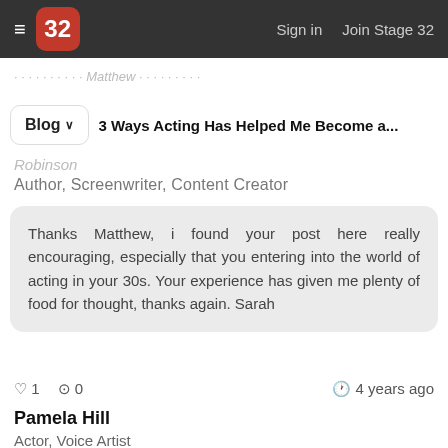≡  32  Sign in  Join Stage 32
3 Ways Acting Has Helped Me Become a...
Blog ∨
Robinson
Author, Screenwriter, Content Creator
Thanks Matthew, i found your post here really encouraging, especially that you entering into the world of acting in your 30s. Your experience has given me plenty of food for thought, thanks again. Sarah
♡ 1  ⊙ 0  🕐 4 years ago
Pamela Hill
Actor, Voice Artist
Thanks Matthew for sharing your story!